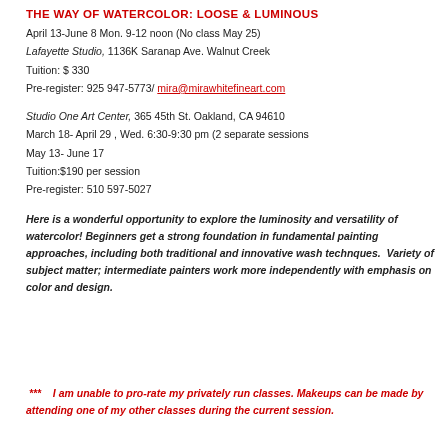THE WAY OF WATERCOLOR: LOOSE & LUMINOUS
April 13-June 8 Mon. 9-12 noon (No class May 25)
Lafayette Studio, 1136K Saranap Ave. Walnut Creek
Tuition: $ 330
Pre-register: 925 947-5773/ mira@mirawhitefineart.com
Studio One Art Center, 365 45th St. Oakland, CA 94610
March 18- April 29 , Wed. 6:30-9:30 pm (2 separate sessions
May 13- June 17
Tuition:$190 per session
Pre-register: 510 597-5027
Here is a wonderful opportunity to explore the luminosity and versatility of  watercolor! Beginners get a strong foundation in fundamental painting  approaches, including both traditional and innovative wash technques.  Variety of subject matter; intermediate painters work more independently with emphasis on color and design.
***    I am unable to pro-rate my privately run classes. Makeups can be made by attending one of my other classes during the current session.